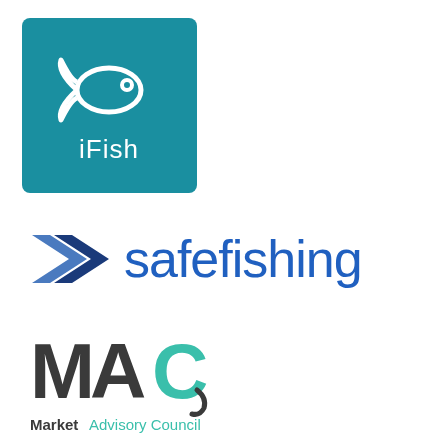[Figure (logo): iFish logo: teal/blue square background with white fish outline icon above the text 'iFish' in white]
[Figure (logo): safefishing logo: blue double-arrow chevron pointing right followed by 'safefishing' text in blue]
[Figure (logo): MAC Market Advisory Council logo: stylized MAC letters in dark gray and teal with fish hook, text 'Market Advisory Council' below in dark gray and teal]